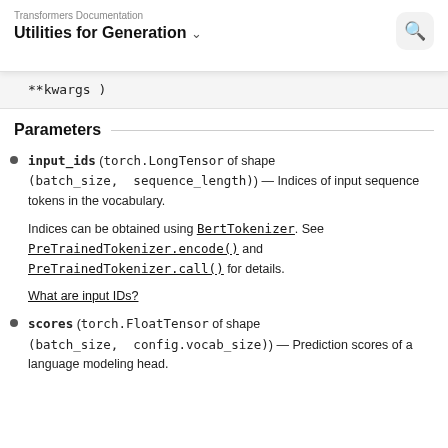Transformers Documentation
Utilities for Generation
**kwargs )
Parameters
input_ids (torch.LongTensor of shape (batch_size, sequence_length)) — Indices of input sequence tokens in the vocabulary.

Indices can be obtained using BertTokenizer. See PreTrainedTokenizer.encode() and PreTrainedTokenizer.call() for details.

What are input IDs?
scores (torch.FloatTensor of shape (batch_size, config.vocab_size)) — Prediction scores of a language modeling head.